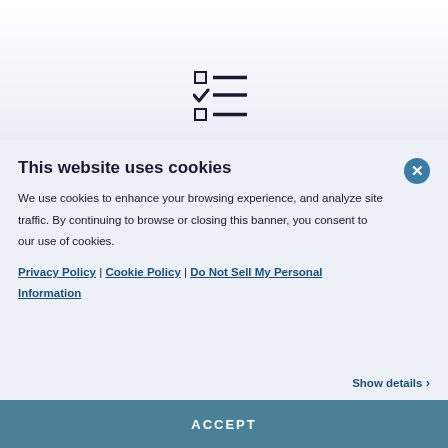[Figure (illustration): Checklist icon with checkboxes and lines]
This website uses cookies
We use cookies to enhance your browsing experience, and analyze site traffic. By continuing to browse or closing this banner, you consent to our use of cookies.
Privacy Policy | Cookie Policy | Do Not Sell My Personal Information
Show details >
ACCEPT